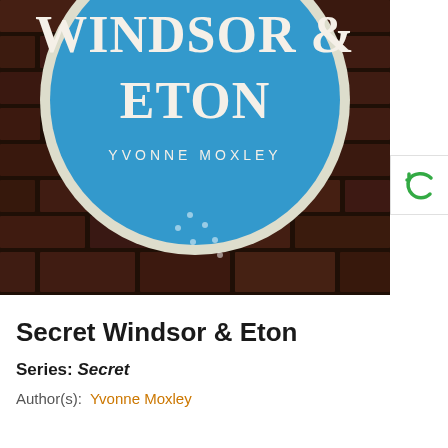[Figure (photo): Book cover photograph showing a blue circular heritage plaque on a brick wall. The plaque reads 'WINDSOR & ETON' in large serif text and 'YVONNE MOXLEY' below in smaller spaced capitals.]
Secret Windsor & Eton
Series: Secret
Author(s): Yvonne Moxley